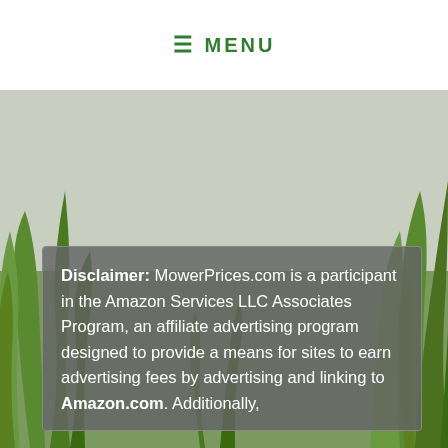≡ MENU
[Figure (photo): Background photo of green grass blades with a semi-transparent grey disclaimer box overlay]
Disclaimer: MowerPrices.com is a participant in the Amazon Services LLC Associates Program, an affiliate advertising program designed to provide a means for sites to earn advertising fees by advertising and linking to Amazon.com. Additionally,